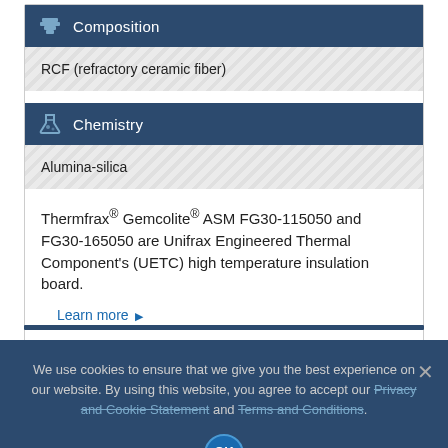Composition
RCF (refractory ceramic fiber)
Chemistry
Alumina-silica
Thermfrax® Gemcolite® ASM FG30-115050 and FG30-165050 are Unifrax Engineered Thermal Component's (UETC) high temperature insulation board.
Learn more ▶
We use cookies to ensure that we give you the best experience on our website. By using this website, you agree to accept our Privacy and Cookie Statement and Terms and Conditions.
OK